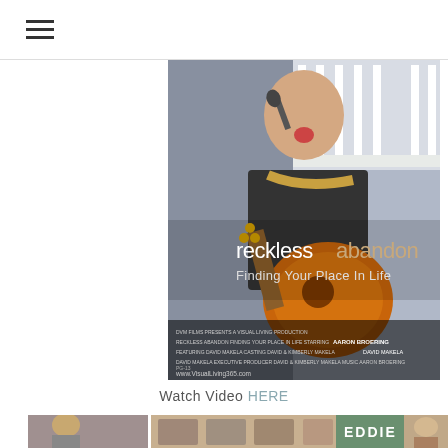Navigation menu (hamburger icon)
[Figure (photo): Movie poster for 'reckless abandon – Finding Your Place In Life'. Shows a young man singing into a microphone and playing an acoustic guitar outdoors. Text overlay includes title 'recklessabandon Finding Your Place In Life', production credits including DVM Films, Visual Living Production, starring Aaron Broering, directed by David Makela, produced by David & Kimberly Makela, music by Aaron Broering. Website: www.VisualLiving365.com]
Watch Video HERE
[Figure (photo): Bottom strip showing partial photo of people and an 'EDDIE' text label overlay]